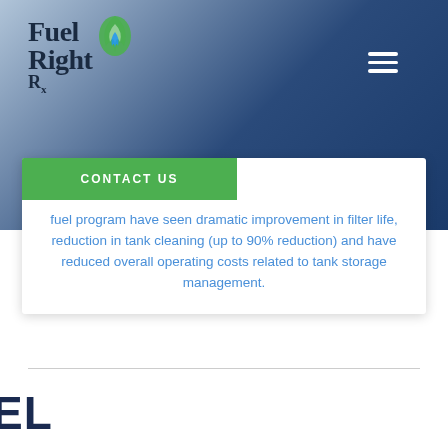[Figure (logo): FuelRight Rx logo with green flame/leaf icon on blue gradient header background]
[Figure (other): Hamburger menu icon (three white horizontal lines) in upper right of header]
CONTACT US
fuel program have seen dramatic improvement in filter life, reduction in tank cleaning (up to 90% reduction) and have reduced overall operating costs related to tank storage management.
EL